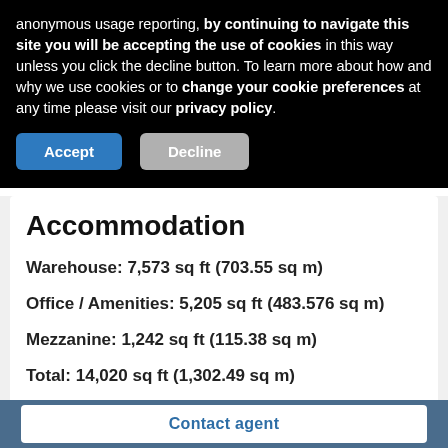anonymous usage reporting, by continuing to navigate this site you will be accepting the use of cookies in this way unless you click the decline button. To learn more about how and why we use cookies or to change your cookie preferences at any time please visit our privacy policy.
Accept | Decline
Accommodation
Warehouse: 7,573 sq ft (703.55 sq m)
Office / Amenities: 5,205 sq ft (483.576 sq m)
Mezzanine: 1,242 sq ft (115.38 sq m)
Total: 14,020 sq ft (1,302.49 sq m)
Contact agent